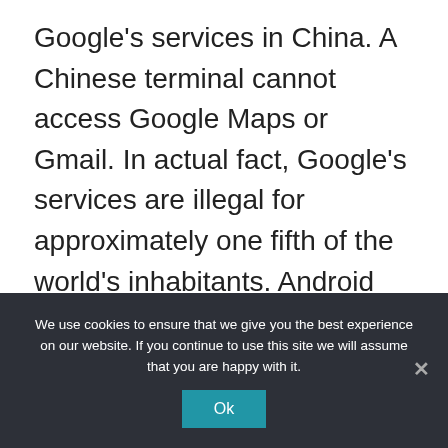Google's services in China. A Chinese terminal cannot access Google Maps or Gmail. In actual fact, Google's services are illegal for approximately one fifth of the world's inhabitants. Android (Google Operating System Updates) will soon be incompatible with phones made ...
View Post
We use cookies to ensure that we give you the best experience on our website. If you continue to use this site we will assume that you are happy with it.
Ok